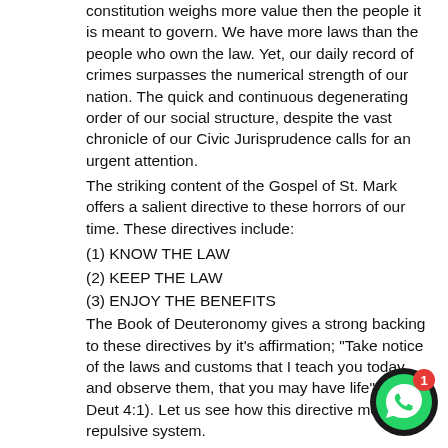constitution weighs more value then the people it is meant to govern. We have more laws than the people who own the law. Yet, our daily record of crimes surpasses the numerical strength of our nation. The quick and continuous degenerating order of our social structure, despite the vast chronicle of our Civic Jurisprudence calls for an urgent attention.
The striking content of the Gospel of St. Mark offers a salient directive to these horrors of our time. These directives include:
(1) KNOW THE LAW
(2) KEEP THE LAW
(3) ENJOY THE BENEFITS
The Book of Deuteronomy gives a strong backing to these directives by it's affirmation; "Take notice of the laws and customs that I teach you today, and observe them, that you may have life". (Cf. Deut 4:1). Let us see how this directive mends a repulsive system.
(1) KNOW THE LAW
They say that the ignorance of the law mitigates no l... Be you Christian, Muslim, Atheist, etc, there are three l... you are bound to acknowledge.
[Figure (other): WhatsApp notification button overlay in bottom right corner, black circle with green WhatsApp logo and red badge showing '1']